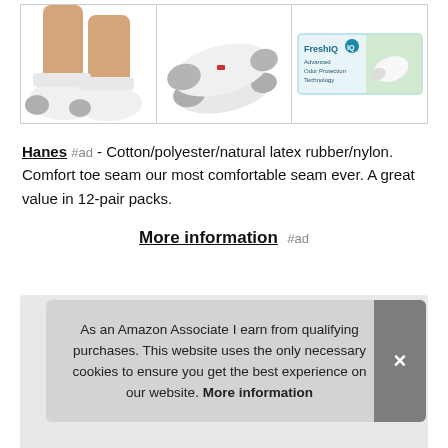[Figure (photo): Three product images side by side in bordered cells: left shows white ankle socks on feet, center shows white/gray athletic socks from an angle, right shows FreshIQ packaging box]
Hanes #ad - Cotton/polyester/natural latex rubber/nylon. Comfort toe seam our most comfortable seam ever. A great value in 12-pair packs.
More information #ad
As an Amazon Associate I earn from qualifying purchases. This website uses the only necessary cookies to ensure you get the best experience on our website. More information